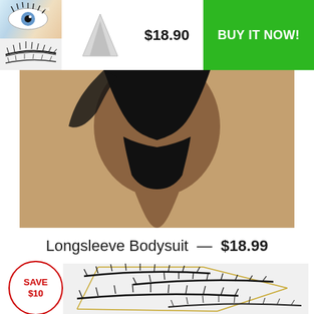[Figure (screenshot): E-commerce ad banner showing eyelash product with price $18.90 and a green BUY IT NOW button. Thumbnail images of eye with lashes and lash product on left, shark logo in center.]
[Figure (photo): Product photo of a person wearing a black longsleeve bodysuit, cropped to torso/lower body area against a beige background.]
Longsleeve Bodysuit — $18.99
[Figure (infographic): Red circle badge with text SAVE $10]
[Figure (photo): Product photo of multiple sets of false eyelashes in clear packaging with gold tray holders, viewed from above.]